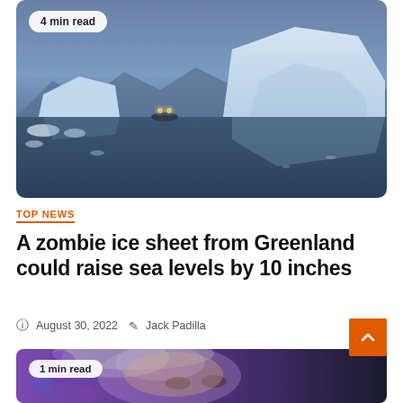[Figure (photo): A large iceberg and smaller ice chunks floating in dark, still Arctic waters at dusk with purplish-blue sky. A small boat with lights visible in the middle distance. Badge overlay reads '4 min read'.]
TOP NEWS
A zombie ice sheet from Greenland could raise sea levels by 10 inches
August 30, 2022   Jack Padilla
[Figure (photo): Close-up of a woman's face partially visible, colorful blurred background. Badge overlay reads '1 min read'.]